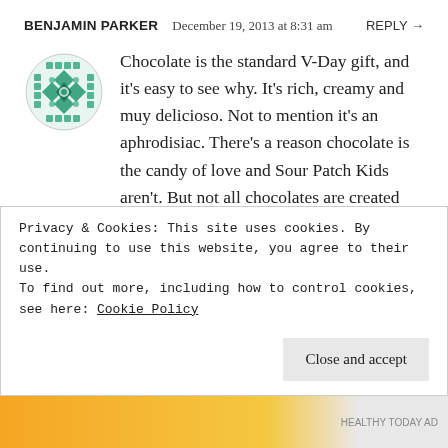BENJAMIN PARKER   December 19, 2013 at 8:31 am   REPLY →
[Figure (illustration): Circular avatar/logo with a green diamond and dot pattern, decorative tile design]
Chocolate is the standard V-Day gift, and it's easy to see why. It's rich, creamy and muy delicioso. Not to mention it's an aphrodisiac. There's a reason chocolate is the candy of love and Sour Patch Kids aren't. But not all chocolates are created equal. Skip the drugstore variety and go for a high-end chocolate like Godiva, Leonidas or Teuscher. Thank you this was such a great post!
Privacy & Cookies: This site uses cookies. By continuing to use this website, you agree to their use.
To find out more, including how to control cookies, see here: Cookie Policy
Close and accept